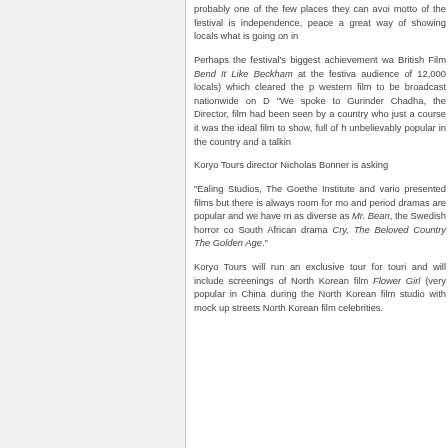probably one of the few places they can avoi... motto of the festival is independence, peace a... great way of showing locals what is going on i...
Perhaps the festival's biggest achievement wa... British Film Bend It Like Beckham at the festiva... audience of 12,000 locals) which cleared the p... western film to be broadcast nationwide on D... "We spoke to Gurinder Chadha, the Director,... film had been seen by a country who just a... course it was the ideal film to show, full of h... unbelievably popular in the country and a talki...
Koryo Tours director Nicholas Bonner is asking...
"Ealing Studios, The Goethe Institute and vario... presented films but there is always room for mo... and period dramas are popular and we have m... as diverse as Mr. Bean, the Swedish horror cor... South African drama Cry, The Beloved Country... The Golden Age."
Koryo Tours will run an exclusive tour for touri... and will include screenings of North Korean film... Flower Girl (very popular in China during the... North Korean film studio with mock up streets... North Korean film celebrities.